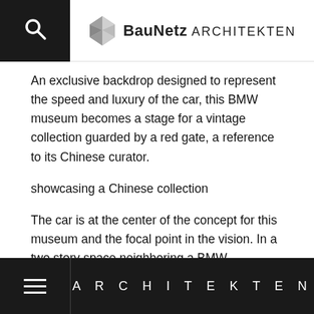BauNetz ARCHITEKTEN
An exclusive backdrop designed to represent the speed and luxury of the car, this BMW museum becomes a stage for a vintage collection guarded by a red gate, a reference to its Chinese curator.
showcasing a Chinese collection
The car is at the center of the concept for this museum and the focal point in the vision. In a two story space neighboring a BMW dealership the volume is crafted into a stage for exhibit and an arrival area to welcome and host events for this private collection of BMW cars, set against a backdrop created from the image of speed.
ARCHITEKTEN